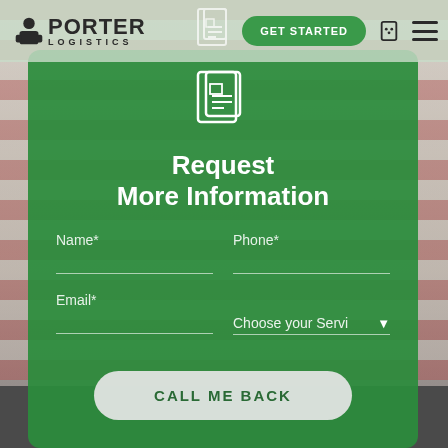[Figure (screenshot): Porter Logistics website navigation bar with logo, GET STARTED button, phone icon, and hamburger menu]
Request More Information
Name*
Phone*
Email*
Choose your Servi
CALL ME BACK